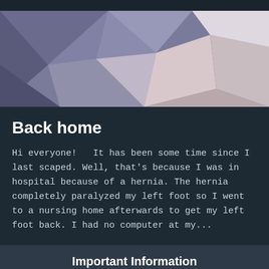[Figure (illustration): Abstract low-poly geometric background with purple, lavender, and pinkish-beige polygon shapes]
Back home
Hi everyone!   It has been some time since I last scaped. Well, that's because I was in hospital because of a hernia. The hernia completely paralyzed my left foot so I went to a nursing home afterwards to get my left foot back. I had no computer at my...
Important Information
By using this site, you agree to our Terms of Use.
✔  I accept